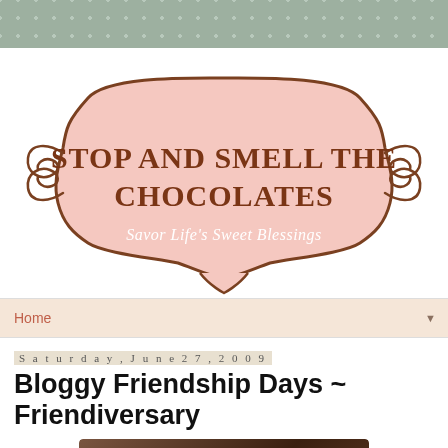[Figure (logo): Blog header with polka dot strip at top, then decorative badge/frame with pink background containing 'STOP AND SMELL THE CHOCOLATES' in brown serif font and 'Savor Life's Sweet Blessings' in white cursive below]
Home
Saturday, June 27, 2009
Bloggy Friendship Days ~ Friendiversary
[Figure (photo): Photo with text overlay reading 'Bloggy Friendship Days June 25-27' on a dark background]